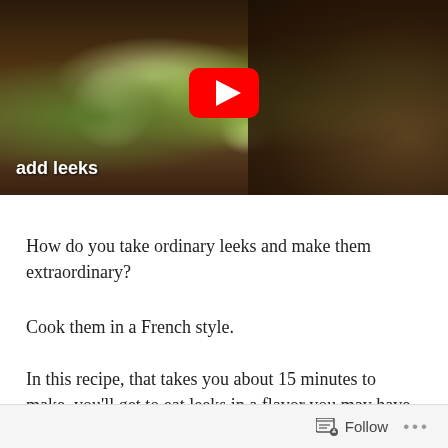[Figure (screenshot): Video thumbnail showing a cooking scene with leeks being added to a pan with broth and other vegetables. A red YouTube play button is centered on the image. White bold text 'add leeks' appears in the lower left of the video.]
How do you take ordinary leeks and make them extraordinary?
Cook them in a French style.
In this recipe, that takes you about 15 minutes to make, you'll get to eat leeks in a flavor you may have
Follow ...